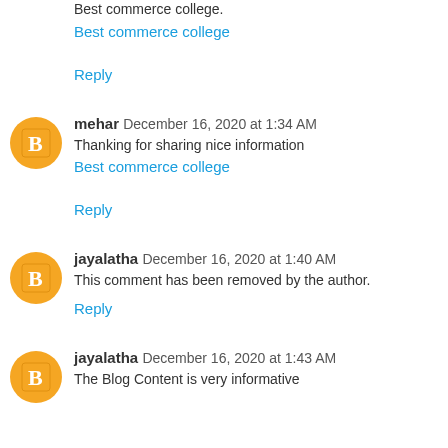Best commerce college.
Best commerce college
Reply
mehar  December 16, 2020 at 1:34 AM
Thanking for sharing nice information
Best commerce college
Reply
jayalatha  December 16, 2020 at 1:40 AM
This comment has been removed by the author.
Reply
jayalatha  December 16, 2020 at 1:43 AM
The Blog Content is very informative